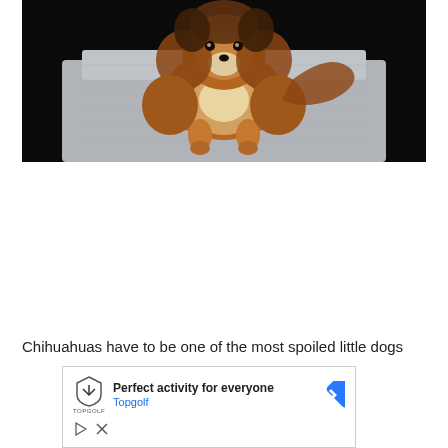[Figure (photo): A long-haired Chihuahua dog with brown and black fur lying on a gray textured surface/chair against a dark black background. The dog is facing the camera with its front paws resting forward.]
Chihuahuas have to be one of the most spoiled little dogs
[Figure (screenshot): An advertisement for Topgolf showing a shield-shaped logo, the text 'Perfect activity for everyone', 'Topgolf' in blue, a blue diamond-shaped navigation arrow icon, a play button icon, and a close (X) icon.]